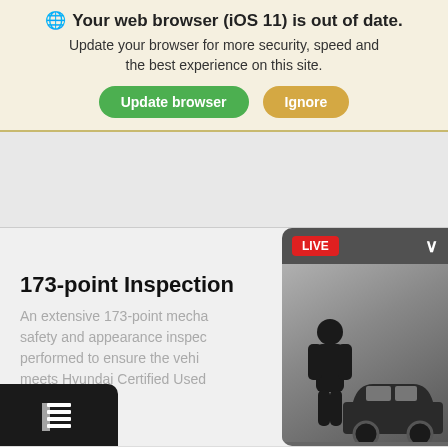🌐 Your web browser (iOS 11) is out of date. Update your browser for more security, speed and the best experience on this site.
[Figure (screenshot): Two buttons: 'Update browser' (green) and 'Ignore' (tan/gold)]
[Figure (screenshot): Gray advertisement placeholder area]
173-point Inspection
An extensive 173-point mechanical, safety and appearance inspection is performed to ensure the vehicle meets Hyundai Certified Used Vehicle standards.*
[Figure (screenshot): Live video widget showing a person standing next to a Hyundai SUV with a red LIVE badge]
[Figure (screenshot): Dark overlay icon (trash/list icon) in bottom left]
Search   Saved   Share